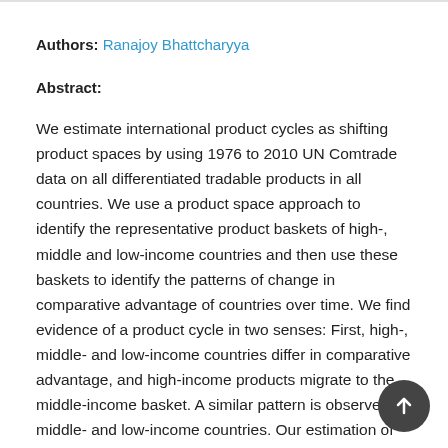Authors: Ranajoy Bhattcharyya
Abstract:
We estimate international product cycles as shifting product spaces by using 1976 to 2010 UN Comtrade data on all differentiated tradable products in all countries. We use a product space approach to identify the representative product baskets of high-, middle and low-income countries and then use these baskets to identify the patterns of change in comparative advantage of countries over time. We find evidence of a product cycle in two senses: First, high-, middle- and low-income countries differ in comparative advantage, and high-income products migrate to the middle-income basket. A similar pattern is observed for middle- and low-income countries. Our estimation of